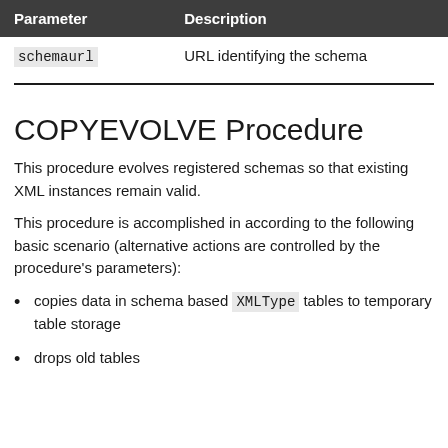| Parameter | Description |
| --- | --- |
| schemaurl | URL identifying the schema |
COPYEVOLVE Procedure
This procedure evolves registered schemas so that existing XML instances remain valid.
This procedure is accomplished in according to the following basic scenario (alternative actions are controlled by the procedure's parameters):
copies data in schema based XMLType tables to temporary table storage
drops old tables